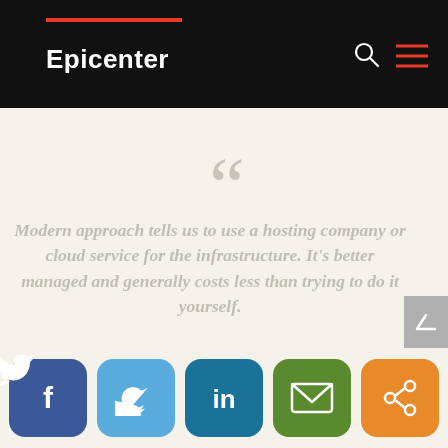Epicenter
Modern approach tells us to use a hosting company or cloud service for the infrastructure. It's better managed and generally costs less than trying to do it yourself.
[Figure (infographic): Social sharing buttons: Facebook, Twitter, LinkedIn, Email, Share]